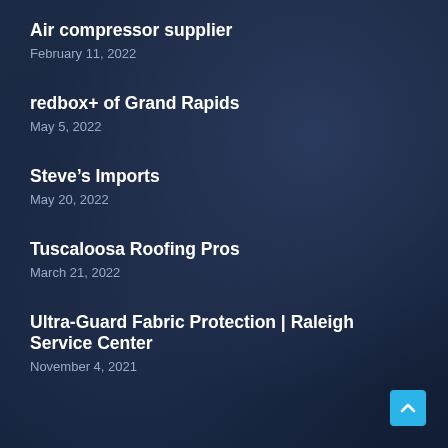Air compressor supplier
February 11, 2022
redbox+ of Grand Rapids
May 5, 2022
Steve’s Imports
May 20, 2022
Tuscaloosa Roofing Pros
March 21, 2022
Ultra-Guard Fabric Protection | Raleigh Service Center
November 4, 2021